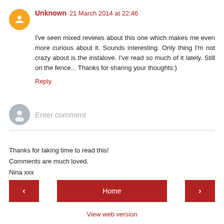Unknown 21 March 2014 at 22:46
I've seen mixed reviews about this one which makes me even more curious about it. Sounds interesting. Only thing I'm not crazy about is the instalove. I've read so much of it lately. Still on the fence... Thanks for sharing your thoughts:)
Reply
Enter comment
Thanks for taking time to read this!
Comments are much loved.
Nina xxx
Home
View web version